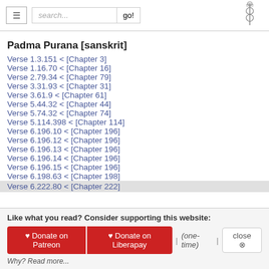search... go!
Padma Purana [sanskrit]
Verse 1.3.151 < [Chapter 3]
Verse 1.16.70 < [Chapter 16]
Verse 2.79.34 < [Chapter 79]
Verse 3.31.93 < [Chapter 31]
Verse 3.61.9 < [Chapter 61]
Verse 5.44.32 < [Chapter 44]
Verse 5.74.32 < [Chapter 74]
Verse 5.114.398 < [Chapter 114]
Verse 6.196.10 < [Chapter 196]
Verse 6.196.12 < [Chapter 196]
Verse 6.196.13 < [Chapter 196]
Verse 6.196.14 < [Chapter 196]
Verse 6.196.15 < [Chapter 196]
Verse 6.198.63 < [Chapter 198]
Verse 6.222.80 < [Chapter 222]
Like what you read? Consider supporting this website:
♥ Donate on Patreon  ♥ Donate on Liberapay  |  (one-time)  |  close ⊗
Why? Read more...